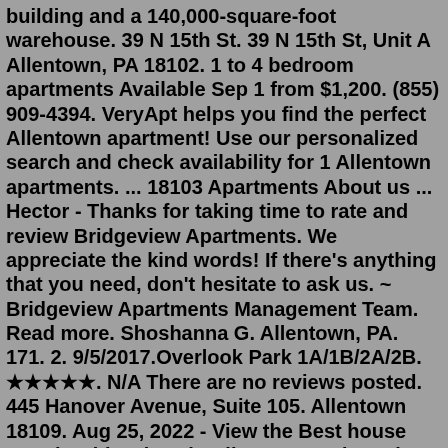building and a 140,000-square-foot warehouse. 39 N 15th St. 39 N 15th St, Unit A Allentown, PA 18102. 1 to 4 bedroom apartments Available Sep 1 from $1,200. (855) 909-4394. VeryApt helps you find the perfect Allentown apartment! Use our personalized search and check availability for 1 Allentown apartments. ... 18103 Apartments About us ... Hector - Thanks for taking time to rate and review Bridgeview Apartments. We appreciate the kind words! If there's anything that you need, don't hesitate to ask us. ~ Bridgeview Apartments Management Team. Read more. Shoshanna G. Allentown, PA. 171. 2. 9/5/2017.Overlook Park 1A/1B/2A/2B. ★★★★★. N/A There are no reviews posted. 445 Hanover Avenue, Suite 105. Allentown 18109. Aug 25, 2022 - View the Best house rentals with Prices in Allentown and nearby. View Tripadvisor's 14 unbiased reviews and great deals on lofts in Allentown, PA and nearby. Flights Vacation Rentals Restaurants ... Condo/Apartment. 2 bedrooms. 1 bathroom. Sleeps 6. Match: Sleeps. More info. Check in. Check out. Show